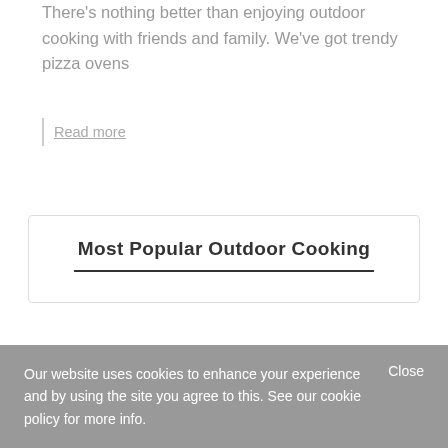There's nothing better than enjoying outdoor cooking with friends and family. We've got trendy pizza ovens
Read more
Most Popular Outdoor Cooking
Our website uses cookies to enhance your experience and by using the site you agree to this. See our cookie policy for more info.